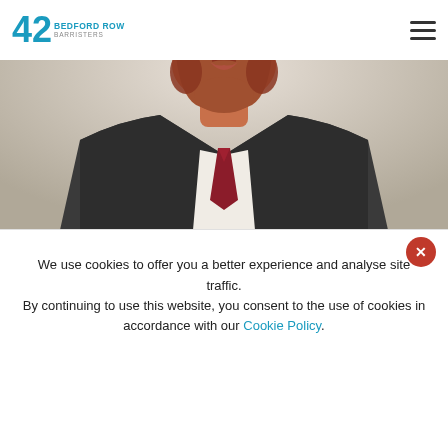[Figure (logo): 42 Bedford Row Barristers small logo in top-left navigation bar]
[Figure (photo): Headshot photo of a man in a grey suit with a red tie and reddish beard, cropped below the chin to the shoulders]
[Figure (logo): 42 Bedford Row Barristers large logo in modal overlay, with large teal '42' numeral and 'BEDFORD ROW BARRISTERS' wordmark]
We use cookies to offer you a better experience and analyse site traffic.
By continuing to use this website, you consent to the use of cookies in accordance with our Cookie Policy.